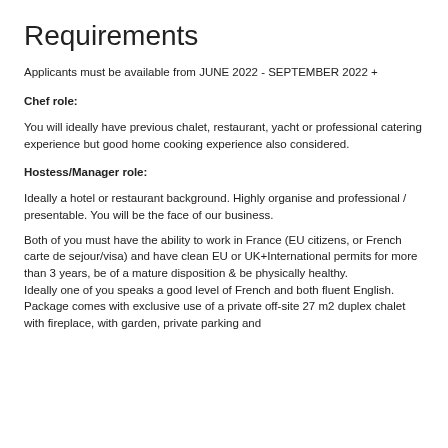Requirements
Applicants must be available from JUNE 2022 - SEPTEMBER 2022 +
Chef role:
You will ideally have previous chalet, restaurant, yacht or professional catering experience but good home cooking experience also considered.
Hostess/Manager role:
Ideally a hotel or restaurant background.  Highly organise and professional / presentable.  You will be the face of our business.
Both of you must have the ability to work in France (EU citizens, or French carte de sejour/visa)  and have clean EU or UK+International permits for more than 3 years, be of a mature disposition & be physically healthy.
Ideally one of you speaks a good level of French and both fluent English.
Package comes with exclusive use of a private off-site 27 m2 duplex chalet with fireplace, with garden, private parking and